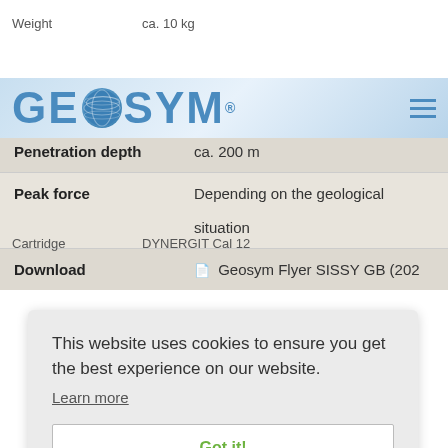Weight   ca. 10 kg
[Figure (logo): GEOSYM logo with globe graphic and blue text on light blue gradient background, with hamburger menu icon]
Material   [Stainless Steel]
Cartridge   DYNERGIT Cal 12
| Property | Value |
| --- | --- |
| Penetration depth | ca. 200 m |
| Peak force | Depending on the geological situation |
| Download | Geosym Flyer SISSY GB (202 |
This website uses cookies to ensure you get the best experience on our website.
Learn more
Got it!